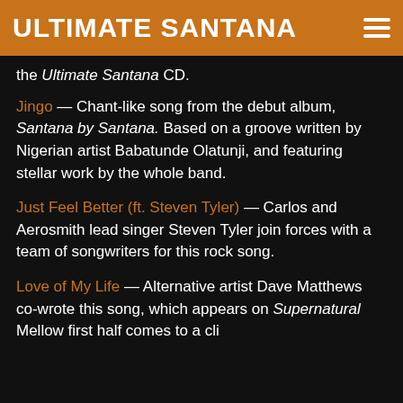ULTIMATE SANTANA
the Ultimate Santana CD.
Jingo — Chant-like song from the debut album, Santana by Santana. Based on a groove written by Nigerian artist Babatunde Olatunji, and featuring stellar work by the whole band.
Just Feel Better (ft. Steven Tyler) — Carlos and Aerosmith lead singer Steven Tyler join forces with a team of songwriters for this rock song.
Love of My Life — Alternative artist Dave Matthews co-wrote this song, which appears on Supernatural Mellow first half comes to a clip...